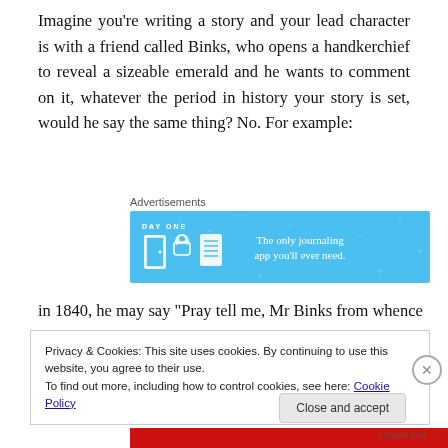Imagine you're writing a story and your lead character is with a friend called Binks, who opens a handkerchief to reveal a sizeable emerald and he wants to comment on it, whatever the period in history your story is set, would he say the same thing? No. For example:
[Figure (screenshot): Advertisement banner for Day One journaling app with blue background showing icons and tagline 'The only journaling app you'll ever need.']
in 1840, he may say “Pray tell me, Mr Binks from whence
Privacy & Cookies: This site uses cookies. By continuing to use this website, you agree to their use.
To find out more, including how to control cookies, see here: Cookie Policy
Close and accept